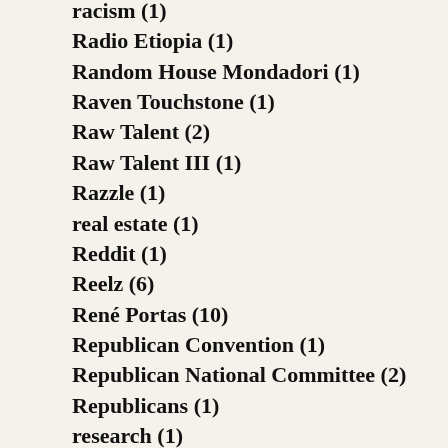racism (1)
Radio Etiopia (1)
Random House Mondadori (1)
Raven Touchstone (1)
Raw Talent (2)
Raw Talent III (1)
Razzle (1)
real estate (1)
Reddit (1)
Reelz (6)
René Portas (10)
Republican Convention (1)
Republican National Committee (2)
Republicans (1)
research (1)
Review 31 (5)
reviews (38)
Rew & Who? (13)
Ricardo Otero Mackinney (1)